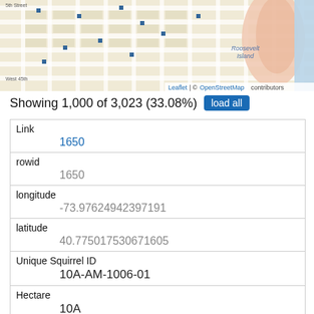[Figure (map): Street map showing part of Manhattan and Roosevelt Island, with a grid of streets. Contains blue square markers. Attribution: Leaflet | © OpenStreetMap contributors.]
Showing 1,000 of 3,023 (33.08%)
| Field | Value |
| --- | --- |
| Link | 1650 |
| rowid | 1650 |
| longitude | -73.976249423971​91 |
| latitude | 40.775017530671605 |
| Unique Squirrel ID | 10A-AM-1006-01 |
| Hectare | 10A |
| Shift | AM |
| Date |  |